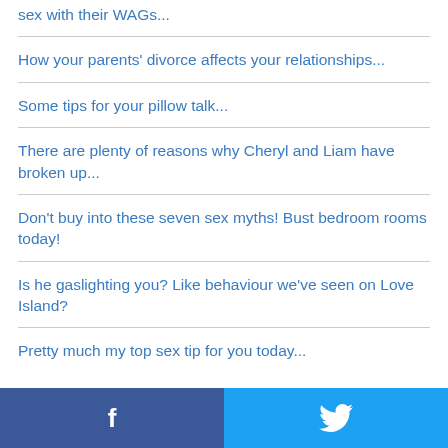sex with their WAGs...
How your parents' divorce affects your relationships...
Some tips for your pillow talk...
There are plenty of reasons why Cheryl and Liam have broken up...
Don't buy into these seven sex myths! Bust bedroom rooms today!
Is he gaslighting you? Like behaviour we've seen on Love Island?
Pretty much my top sex tip for you today...
Facebook | Twitter social share bar